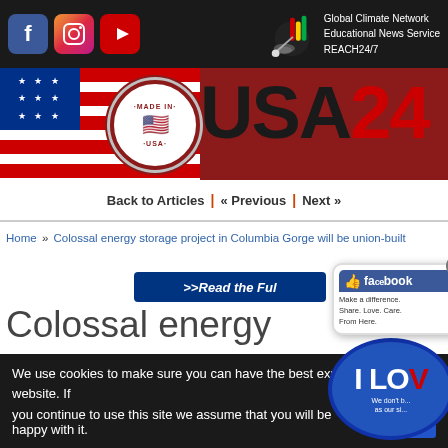[Figure (screenshot): Top navigation bar with social media icons (Facebook, Instagram, YouTube) and Global Climate Network Educational News Service REACH24/7 logo]
[Figure (logo): USA24 banner with American flag, Made in USA seal, and USA24 logo text in red and black]
Back to Articles | « Previous | Next »
Home » Colossal energy storage project in Columbia Gorge will be union-built
[Figure (screenshot): >>Read the Full button overlay in dark blue]
[Figure (screenshot): Facebook popup overlay with Like button, 'Make a difference. Share. Love. Care. From Here.' text and I LOVE badge]
Colossal energy storage project in Columbia G
We use cookies to make sure you can have the best experience on our website. If you continue to use this site we assume that you will be happy with it.